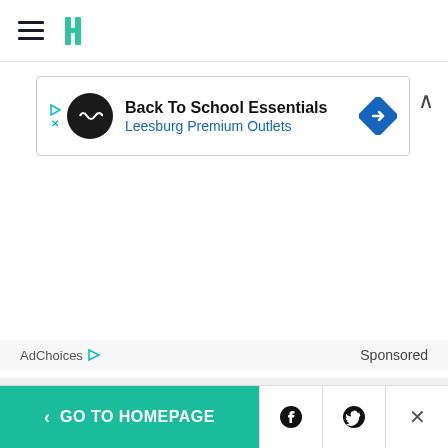Navigation bar with hamburger menu and HuffPost logo
[Figure (screenshot): Advertisement banner: Back To School Essentials - Leesburg Premium Outlets, with circular logo and direction icon]
AdChoices ▷   Sponsored
[Figure (other): Red horizontal rule / divider bar]
Suggest a correction
< GO TO HOMEPAGE  [Facebook icon]  [Twitter icon]  ×